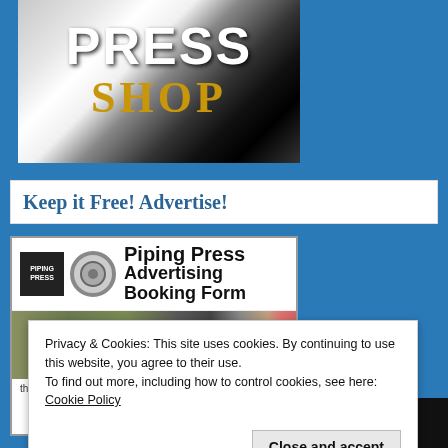[Figure (logo): Press Shop logo with 'PRESS' in white bold text and 'SHOP' in gold/amber text on dark circular background with light gradient edges]
Keep it Free! Advertise!
[Figure (screenshot): Piping Press Advertising Booking Form document with small logo, gear icon, title text, and a photo strip below]
Privacy & Cookies: This site uses cookies. By continuing to use this website, you agree to their use.
To find out more, including how to control cookies, see here: Cookie Policy
Close and accept
thousands of